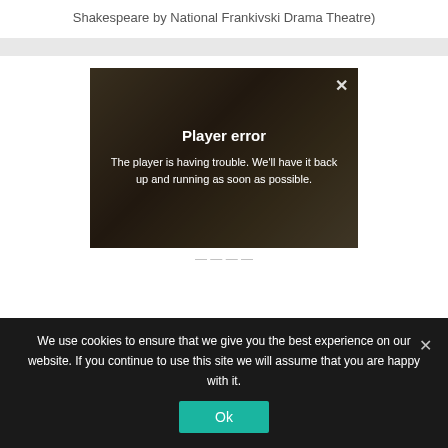Shakespeare by National Frankivski Drama Theatre)
[Figure (screenshot): Video player showing a player error message overlaid on a blurry background image of a person. Error reads: 'Player error — The player is having trouble. We'll have it back up and running as soon as possible.' A close button (×) is visible in the top right of the player.]
We use cookies to ensure that we give you the best experience on our website. If you continue to use this site we will assume that you are happy with it.
Ok